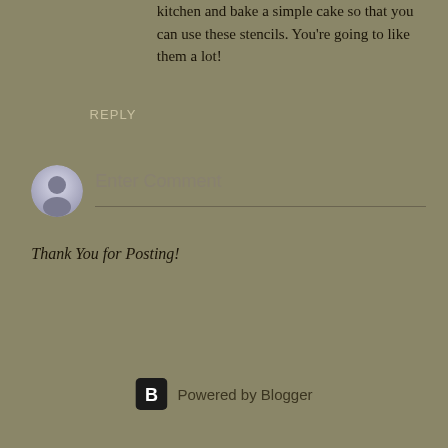kitchen and bake a simple cake so that you can use these stencils. You're going to like them a lot!
REPLY
[Figure (illustration): Generic user avatar icon — circular grey silhouette of a person]
Enter Comment
Thank You for Posting!
[Figure (logo): Blogger logo — black rounded square with white 'B' letter, followed by 'Powered by Blogger' text]